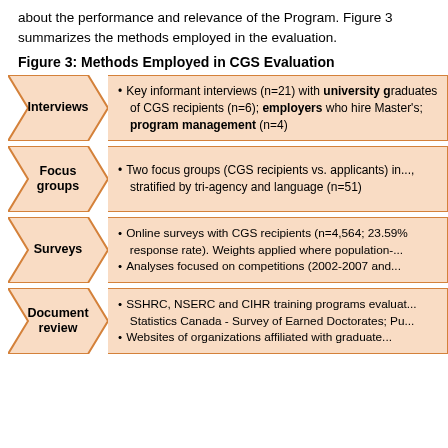about the performance and relevance of the Program. Figure 3 summarizes the methods employed in the evaluation.
Figure 3: Methods Employed in CGS Evaluation
[Figure (flowchart): Four-row flowchart showing evaluation methods: Interviews (key informant interviews n=21 with university graduates, employers, program management n=4), Focus groups (two focus groups CGS recipients vs applicants stratified by tri-agency and language n=51), Surveys (online surveys with CGS recipients n=4,564 23.5% response rate, analyses focused on competitions 2002-2007 and...), Document review (SSHRC NSERC and CIHR training programs evaluations, Statistics Canada Survey of Earned Doctorates, websites of organizations affiliated with graduates)]